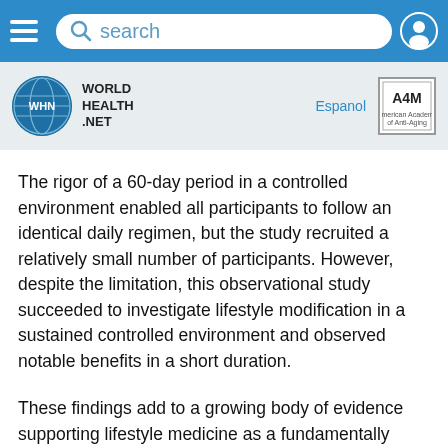search
[Figure (logo): World Health Net logo with blue globe icon and text WORLD HEALTH NET]
The rigor of a 60-day period in a controlled environment enabled all participants to follow an identical daily regimen, but the study recruited a relatively small number of participants. However, despite the limitation, this observational study succeeded to investigate lifestyle modification in a sustained controlled environment and observed notable benefits in a short duration.
These findings add to a growing body of evidence supporting lifestyle medicine as a fundamentally necessary and viable preventative strategy to improve